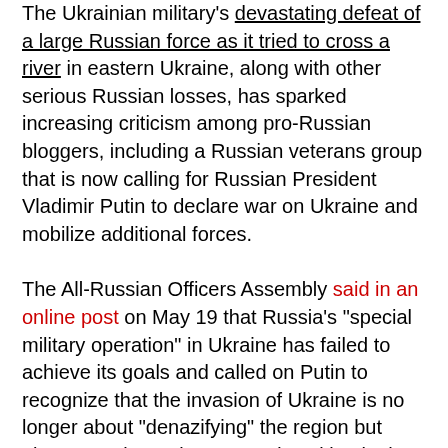The Ukrainian military's devastating defeat of a large Russian force as it tried to cross a river in eastern Ukraine, along with other serious Russian losses, has sparked increasing criticism among pro-Russian bloggers, including a Russian veterans group that is now calling for Russian President Vladimir Putin to declare war on Ukraine and mobilize additional forces.
The All-Russian Officers Assembly said in an online post on May 19 that Russia's "special military operation" in Ukraine has failed to achieve its goals and called on Putin to recognize that the invasion of Ukraine is no longer about "denazifying" the region but about Russia's existence and position in the world order, according to the Institute for the Study of War, a Washington-based research organization.
The pro-Russian group said that the "special military operation," as Putin called his large-scale invasion of